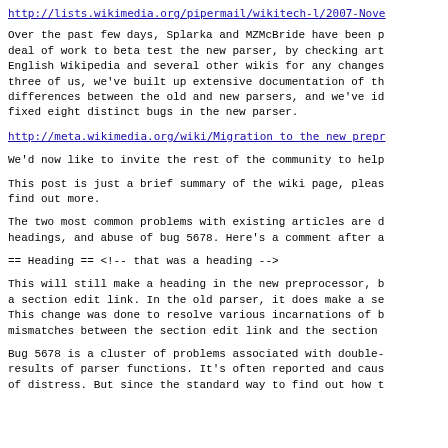http://lists.wikimedia.org/pipermail/wikitech-l/2007-Nove
Over the past few days, Splarka and MZMcBride have been putting a great deal of work to beta test the new parser, by checking articles on English Wikipedia and several other wikis for any changes. Between the three of us, we've built up extensive documentation of the differences between the old and new parsers, and we've identified and fixed eight distinct bugs in the new parser.
http://meta.wikimedia.org/wiki/Migration_to_the_new_prepr
We'd now like to invite the rest of the community to help
This post is just a brief summary of the wiki page, please find out more.
The two most common problems with existing articles are due to headings, and abuse of bug 5678. Here's a comment after a
== Heading == <!-- that was a heading -->
This will still make a heading in the new preprocessor, but not a section edit link. In the old parser, it does make a section edit link. This change was done to resolve various incarnations of bugs, mismatches between the section edit link and the section
Bug 5678 is a cluster of problems associated with double-braces results of parser functions. It's often reported and causes a lot of distress. But since the standard way to find out how